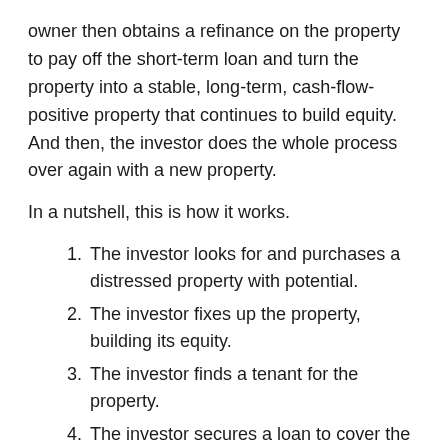owner then obtains a refinance on the property to pay off the short-term loan and turn the property into a stable, long-term, cash-flow-positive property that continues to build equity. And then, the investor does the whole process over again with a new property.
In a nutshell, this is how it works.
The investor looks for and purchases a distressed property with potential.
The investor fixes up the property, building its equity.
The investor finds a tenant for the property.
The investor secures a loan to cover the purchase price and rehab cost.
The investor finds another property and builds wealth.
Of course, as with all investments, the math has to work